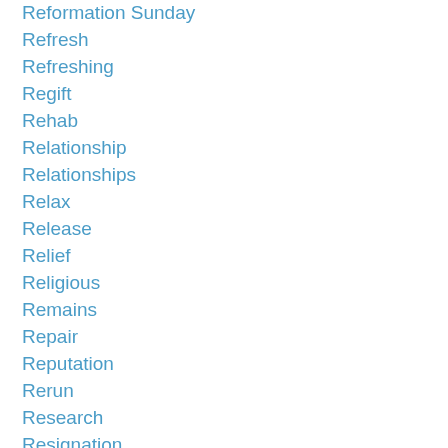Reformation Sunday
Refresh
Refreshing
Regift
Rehab
Relationship
Relationships
Relax
Release
Relief
Religious
Remains
Repair
Reputation
Rerun
Research
Resignation
Resist
Resistance
Resolution
Resolutions